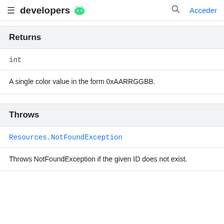developers [android] Acceder
Returns
int
A single color value in the form 0xAARRGGBB.
Throws
Resources.NotFoundException
Throws NotFoundException if the given ID does not exist.